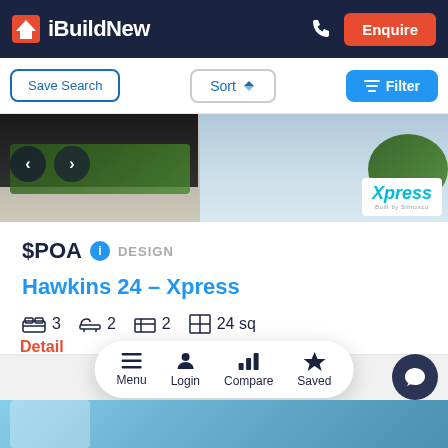iBuildNew — Enquire
Save Search | Sort | Filter
[Figure (photo): Exterior photo of a modern house with garage, showing Xpress branding badge]
$POA DESIGN
Hawkins 24 – Xpress
3 bedrooms, 2 bathrooms, 2 garage, 24 sq
Detail
Menu  Login  Compare  Saved